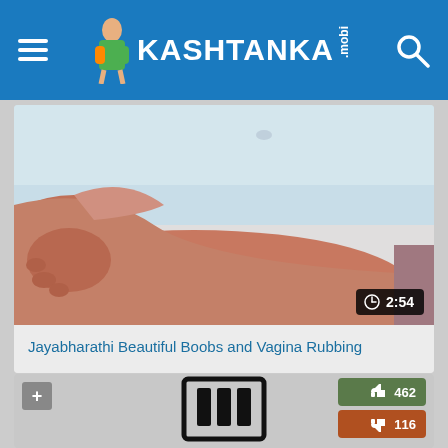KASHTANKA .mobi
[Figure (screenshot): Video thumbnail showing a person's arm/body, skin tones, with duration overlay 2:54]
Jayabharathi Beautiful Boobs and Vagina Rubbing
[Figure (screenshot): Second video card with plus button, like count 462, dislike count 116, and a logo/icon at the bottom]